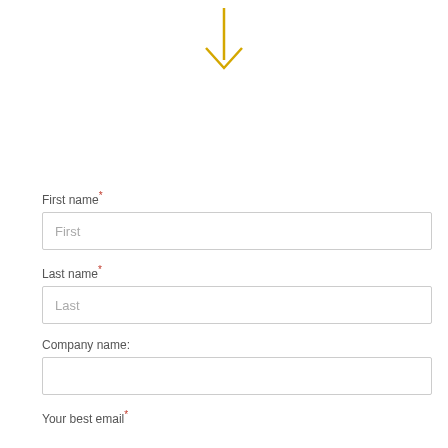[Figure (illustration): A downward-pointing arrow in golden/yellow color, appearing at the top center of the page]
First name*
[Figure (other): Text input field with placeholder 'First']
Last name*
[Figure (other): Text input field with placeholder 'Last']
Company name:
[Figure (other): Empty text input field for company name]
Your best email*